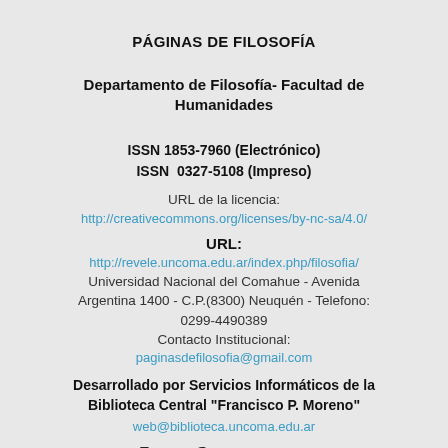PÁGINAS DE FILOSOFÍA
Departamento de Filosofía- Facultad de Humanidades
ISSN 1853-7960 (Electrónico)
ISSN  0327-5108 (Impreso)
URL de la licencia:
http://creativecommons.org/licenses/by-nc-sa/4.0/
URL:
http://revele.uncoma.edu.ar/index.php/filosofia/
Universidad Nacional del Comahue - Avenida Argentina 1400 - C.P.(8300) Neuquén - Telefono: 0299-4490389
Contacto Institucional:
paginasdefilosofia@gmail.com
Desarrollado por Servicios Informáticos de la Biblioteca Central "Francisco P. Moreno"
web@biblioteca.uncoma.edu.ar
Platform &